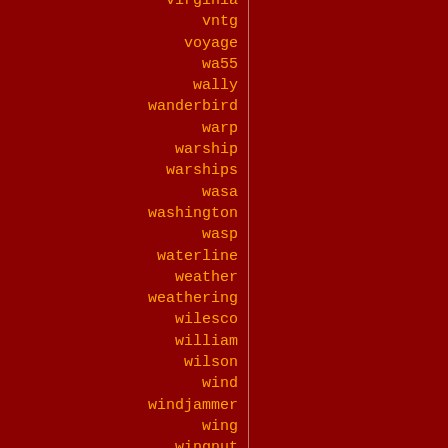virginia
vntg
voyage
wa55
wally
wanderbird
warp
warship
warships
wasa
washington
wasp
waterline
weather
weathering
wilesco
william
wilson
wind
windjammer
wing
wingnut
winter
wisconsin